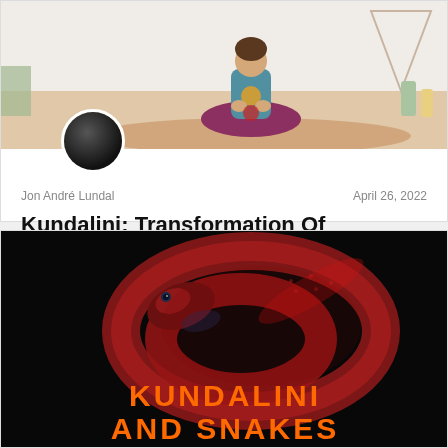[Figure (photo): Woman in meditation/lotus pose sitting on a floor mat, wearing purple-red leggings and a teal top with a sun design, hands in mudra position, with plants and a teepee-like structure in the background. A circular author avatar (dark photo of a person) is overlaid at the bottom-left of the image.]
Jon André Lundal
April 26, 2022
Kundalini: Transformation Of Consciousness
[Figure (photo): Close-up of a coiled red/dark snake on a black background, with text overlay reading 'KUNDALINI AND SNAKES' in orange bold uppercase letters.]
KUNDALINI AND SNAKES